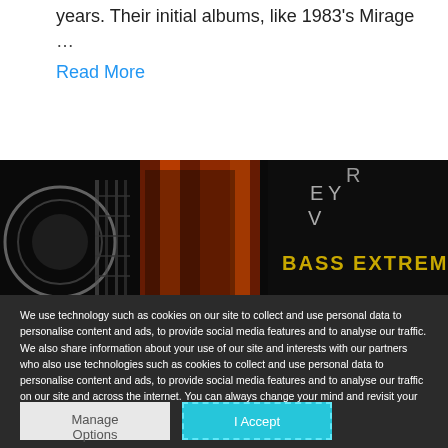years. Their initial albums, like 1983's Mirage … Read More
[Figure (photo): Dark concert/album image with text 'BASS EXTREMES' and partial letters 'E Y V' visible on the right side]
We use technology such as cookies on our site to collect and use personal data to personalise content and ads, to provide social media features and to analyse our traffic. We also share information about your use of our site and interests with our partners who also use technologies such as cookies to collect and use personal data to personalise content and ads, to provide social media features and to analyse our traffic on our site and across the internet. You can always change your mind and revisit your choices.